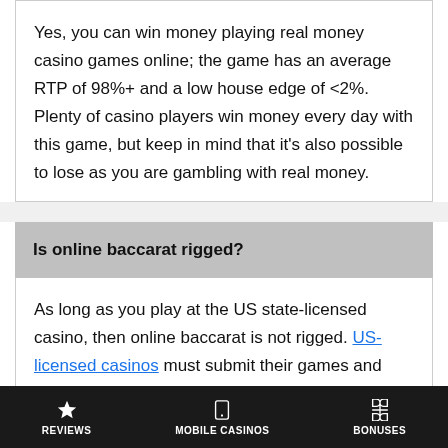Yes, you can win money playing real money casino games online; the game has an average RTP of 98%+ and a low house edge of <2%. Plenty of casino players win money every day with this game, but keep in mind that it's also possible to lose as you are gambling with real money.
Is online baccarat rigged?
As long as you play at the US state-licensed casino, then online baccarat is not rigged. US-licensed casinos must submit their games and casino software for third-party testing to ensure it's fair and pays out. Offshore/ casinos licensed outside of the USA are not bound by these
REVIEWS   MOBILE CASINOS   BONUSES